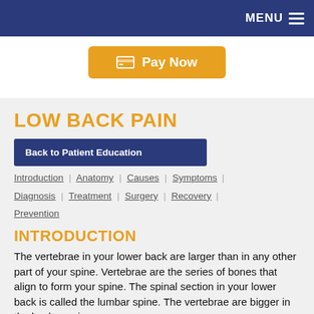MENU
[Figure (other): Pay Now button with cash/card icon]
LOW BACK PAIN
Back to Patient Education
Introduction | Anatomy | Causes | Symptoms | Diagnosis | Treatment | Surgery | Recovery | Prevention
INTRODUCTION
The vertebrae in your lower back are larger than in any other part of your spine. Vertebrae are the series of bones that align to form your spine. The spinal section in your lower back is called the lumbar spine. The vertebrae are bigger in the lumber spine